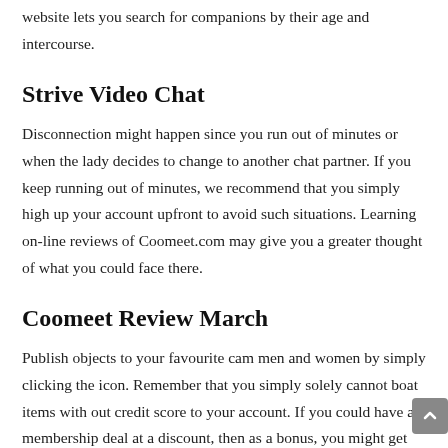website lets you search for companions by their age and intercourse.
Strive Video Chat
Disconnection might happen since you run out of minutes or when the lady decides to change to another chat partner. If you keep running out of minutes, we recommend that you simply high up your account upfront to avoid such situations. Learning on-line reviews of Coomeet.com may give you a greater thought of what you could face there.
Coomeet Review March
Publish objects to your favourite cam men and women by simply clicking the icon. Remember that you simply solely cannot boat items with out credit score to your account. If you could have a membership deal at a discount, then as a bonus, you might get some freed from cost minutes, for example. You'll see a pop-up